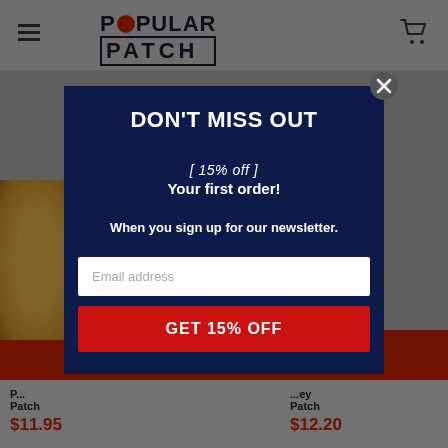[Figure (screenshot): E-commerce website screenshot showing Popular Patch store with navigation header, hamburger menu, cart icon, product image partially visible on left, and red add-to-cart buttons]
DON'T MISS OUT
[ 15% off ]
Your first order!
When you sign up for our newsletter.
Email address
GET 15% OFF
Patch
Patch
$11.95
$12.20